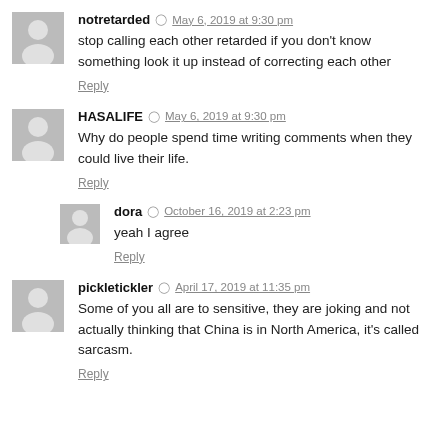notretarded · May 6, 2019 at 9:30 pm
stop calling each other retarded if you don't know something look it up instead of correcting each other
Reply
HASALIFE · May 6, 2019 at 9:30 pm
Why do people spend time writing comments when they could live their life.
Reply
dora · October 16, 2019 at 2:23 pm
yeah I agree
Reply
pickletickler · April 17, 2019 at 11:35 pm
Some of you all are to sensitive, they are joking and not actually thinking that China is in North America, it's called sarcasm.
Reply